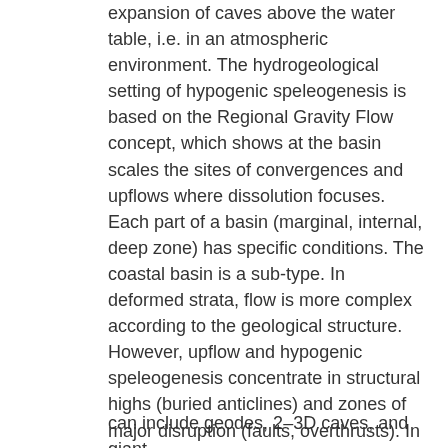expansion of caves above the water table, i.e. in an atmospheric environment. The hydrogeological setting of hypogenic speleogenesis is based on the Regional Gravity Flow concept, which shows at the basin scales the sites of convergences and upflows where dissolution focuses. Each part of a basin (marginal, internal, deep zone) has specific conditions. The coastal basin is a sub-type. In deformed strata, flow is more complex according to the geological structure. However, upflow and hypogenic speleogenesis concentrate in structural highs (buried anticlines) and zones of major disruption (faults, overthrusts). In disrupted basins, the geothermal gradient “pumps” the meteoric water at depth, making loops of different depths and characteristics. Volcanism and magmatism also produce deep hypogenic loops with “hyperkarst” characteristics due to a combination of deep-seated CO2, H2S, thermalism, and microbial activity. In phreatic conditions, the resulting cave patterns
can include geodes, 2–3D caves, and giant